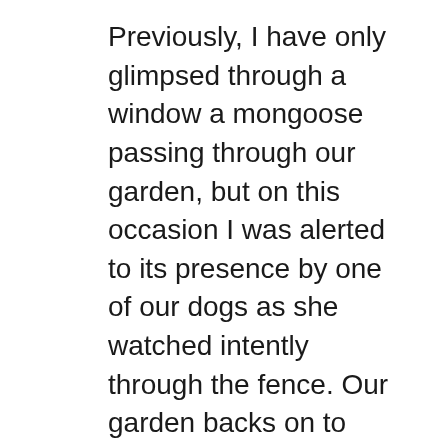Previously, I have only glimpsed through a window a mongoose passing through our garden, but on this occasion I was alerted to its presence by one of our dogs as she watched intently through the fence. Our garden backs on to unused land on the edge of a plantation, and I sat on the ground inside the fence and persuaded our two dogs to stay still and quiet beside me, which they did, even though they were rigid with anticipation.
Our long and quiet wait was rewarded by this mongoose breaking cover and enjoying the morning sunshine. It was aware of us watching it, but seemed to be fairly relaxed about it. After a while I noticed a second mongoose close by, although it did not emerge into the open.
These mongooses sleep in holes and I wondered if this was a breeding pair nesting in one of the small